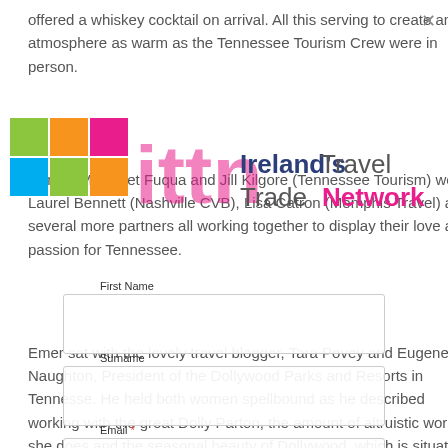offered a whiskey cocktail on arrival. All this serving to create an atmosphere as warm as the Tennessee Tourism Crew were in person.
[Figure (logo): ITTN - Ireland's Travel Trade Network logo with colorful blocks and text]
Joining Margaret Fuqua and Jill Kilgore (Tennessee Tourism) were Laurel Bennett (Nashville CVB), Lisa Catron (Memphis Travel) and several more partners all working together to display their love and passion for Tennessee.
Emer sat with the lovely travel blogger, Tara Povey and Eugene Naughton, President of the Dollywood Parks and Resorts in Tennesse. He held both women spellbound as he described working with the great Dolly Parton, the amount of altruistic work she does and the seasonal beauty of Dollywood, which is situated among the Great Smoky Mountains.
First Name
Surname
Email *